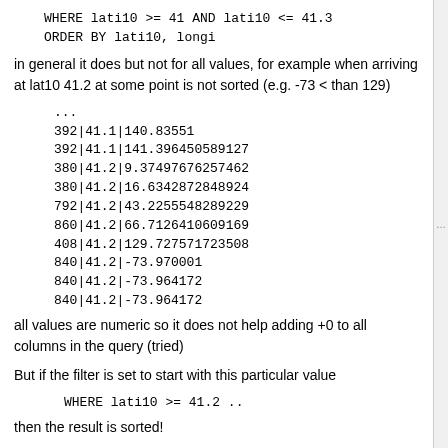WHERE lati10 >= 41 AND lati10 <= 41.3
    ORDER BY lati10, longi
in general it does but not for all values, for example when arriving at lat10 41.2 at some point is not sorted (e.g. -73 < than 129)
...
392|41.1|140.83551
392|41.1|141.396450589127
380|41.2|9.37497676257462
380|41.2|16.6342872848924
792|41.2|43.2255548289229
860|41.2|66.7126410609169
408|41.2|129.727571723508
840|41.2|-73.970001
840|41.2|-73.964172
840|41.2|-73.964172
all values are numeric so it does not help adding +0 to all columns in the query (tried)
But if the filter is set to start with this particular value
WHERE lati10 >= 41.2 ..
then the result is sorted!